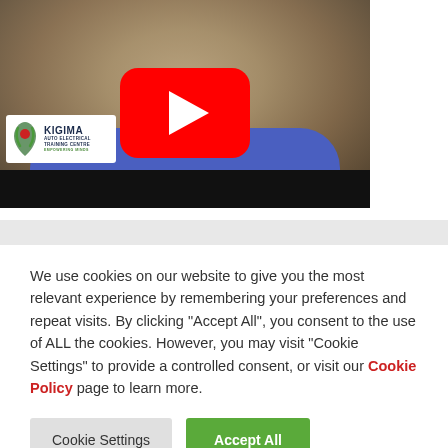[Figure (screenshot): YouTube video thumbnail showing a woman in a blue shirt with a YouTube play button overlay and Kigima Auto Electrical Training Centre logo in the bottom left. A black bar appears at the bottom of the video frame.]
We use cookies on our website to give you the most relevant experience by remembering your preferences and repeat visits. By clicking "Accept All", you consent to the use of ALL the cookies. However, you may visit "Cookie Settings" to provide a controlled consent, or visit our Cookie Policy page to learn more.
Cookie Settings
Accept All